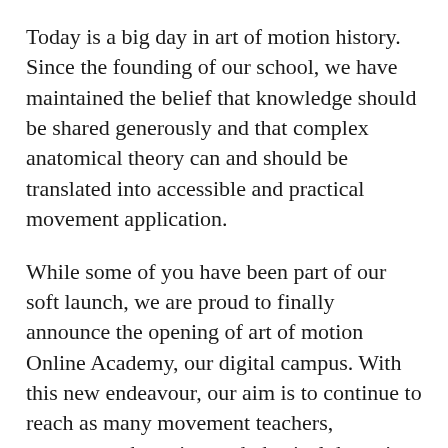Today is a big day in art of motion history. Since the founding of our school, we have maintained the belief that knowledge should be shared generously and that complex anatomical theory can and should be translated into accessible and practical movement application.
While some of you have been part of our soft launch, we are proud to finally announce the opening of art of motion Online Academy, our digital campus. With this new endeavour, our aim is to continue to reach as many movement teachers, movement therapists and physical therapists as possible so their work can benefit from Slings Myofascial Training.
Does online learning replace face-to-face courses? Absolutely not, we'll continue to offer courses around the world in collaboration with our valued hosts. The idea to launch an online school came from the deep-